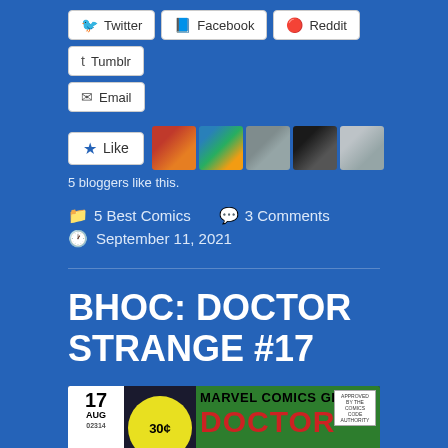Twitter
Facebook
Reddit
Tumblr
Email
[Figure (other): Like button with star icon and 5 blogger avatars]
5 bloggers like this.
5 Best Comics   3 Comments
September 11, 2021
BHOC: DOCTOR STRANGE #17
[Figure (photo): Marvel Comics Group Doctor Strange #17 comic book cover, issue 17 August, 30 cents, with Marvel Comics Group banner on green background]